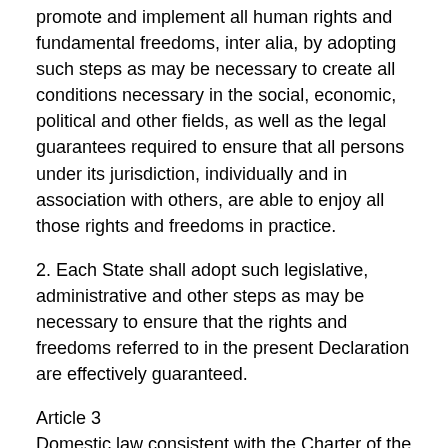promote and implement all human rights and fundamental freedoms, inter alia, by adopting such steps as may be necessary to create all conditions necessary in the social, economic, political and other fields, as well as the legal guarantees required to ensure that all persons under its jurisdiction, individually and in association with others, are able to enjoy all those rights and freedoms in practice.
2. Each State shall adopt such legislative, administrative and other steps as may be necessary to ensure that the rights and freedoms referred to in the present Declaration are effectively guaranteed.
Article 3
Domestic law consistent with the Charter of the United Nations and other international obligations of the State in the field of human rights and fundamental freedoms is the juridical framework within which human rights and fundamental freedoms should be implemented and enjoyed and within which all activities referred to in the present Declaration for the